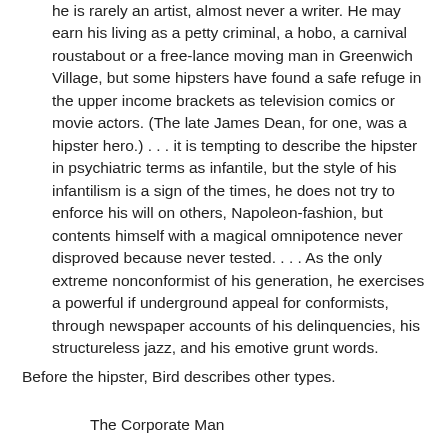he is rarely an artist, almost never a writer. He may earn his living as a petty criminal, a hobo, a carnival roustabout or a free-lance moving man in Greenwich Village, but some hipsters have found a safe refuge in the upper income brackets as television comics or movie actors. (The late James Dean, for one, was a hipster hero.) . . . it is tempting to describe the hipster in psychiatric terms as infantile, but the style of his infantilism is a sign of the times, he does not try to enforce his will on others, Napoleon-fashion, but contents himself with a magical omnipotence never disproved because never tested. . . . As the only extreme nonconformist of his generation, he exercises a powerful if underground appeal for conformists, through newspaper accounts of his delinquencies, his structureless jazz, and his emotive grunt words.
Before the hipster, Bird describes other types.
The Corporate Man